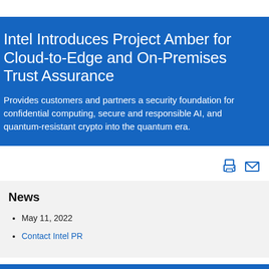Intel Introduces Project Amber for Cloud-to-Edge and On-Premises Trust Assurance
Provides customers and partners a security foundation for confidential computing, secure and responsible AI, and quantum-resistant crypto into the quantum era.
News
May 11, 2022
Contact Intel PR